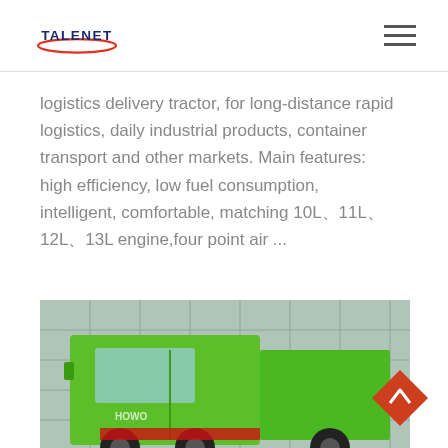TALENET
logistics delivery tractor, for long-distance rapid logistics, daily industrial products, container transport and other markets. Main features: high efficiency, low fuel consumption, intelligent, comfortable, matching 10L、11L、12L、13L engine,four point air ...
Learn More
[Figure (photo): Green HOWO heavy truck parked in front of a glass building facade]